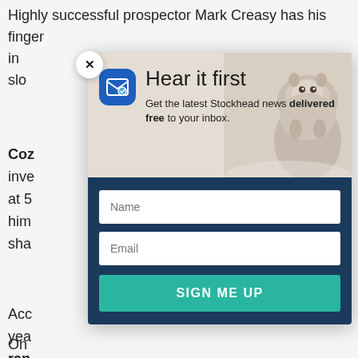Highly successful prospector Mark Creasy has his finger in... slow...
Coz... ed inve... hip at 5... him... e sha...
Acc... yea... ran... ahe... beh... Ellis...
On... r
[Figure (screenshot): Email newsletter signup modal popup with 'Hear it first' heading, envelope icon, groundhog/marmot photo background, name and email input fields, and 'SIGN ME UP' button on dark navy background. Close X button in top-left corner.]